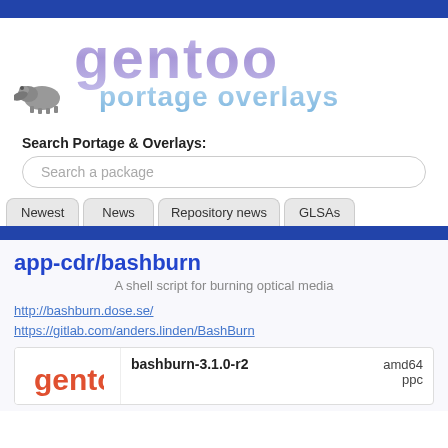[Figure (logo): Gentoo Portage Overlays logo with 3D bubbly purple 'gentoo' text and light blue 'portage overlays' text, with a small Larry the Cow mascot]
Search Portage & Overlays:
Search a package
Newest
News
Repository news
GLSAs
app-cdr/bashburn
A shell script for burning optical media
http://bashburn.dose.se/
https://gitlab.com/anders.linden/BashBurn
|  | bashburn-3.1.0-r2 |  |
| --- | --- | --- |
|  |  | amd64 |
|  |  | ppc |